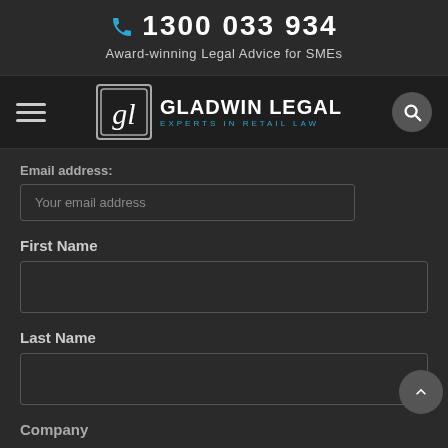1300 033 934
Award-winning Legal Advice for SMEs
[Figure (logo): Gladwin Legal logo with 'gl' monogram and text GLADWIN LEGAL EXPERTS IN RETAIL LAW]
Email address:
Your email address
First Name
Last Name
Company